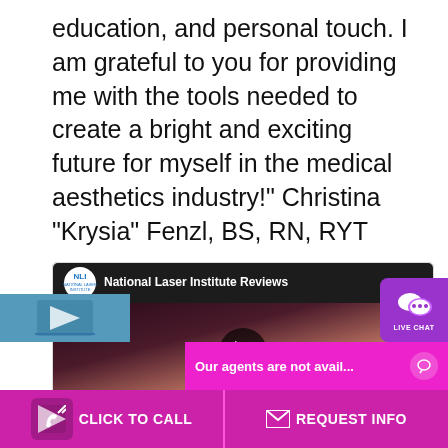education, and personal touch. I am grateful to you for providing me with the tools needed to create a bright and exciting future for myself in the medical aesthetics industry!" Christina “Krysia” Fenzl, BS, RN, RYT
[Figure (screenshot): YouTube video embed showing National Laser Institute Reviews with a woman's face visible. Video title bar shows NLI logo and 'National Laser Institute Reviews'. Lower bar shows 'Rochelle Burris' in pink italic text. A live chat purple bubble appears on the right side. A 'Our agents are not avail...' magenta bar appears at the bottom right. Bottom navigation bar shows 'CLICK TO CALL' and 'REQUEST INFO' buttons in magenta.]